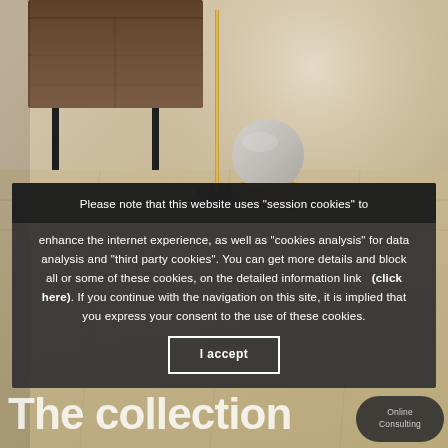[Figure (photo): Interior design photo showing a walnut sideboard/cabinet on thin black legs, a gold floor lamp, and a grey cylindrical ottoman on a beige tiled floor against a taupe wall.]
Please note that this website uses "session cookies" to enhance the internet experience, as well as "cookies analysis" for data analysis and "third party cookies". You can get more details and block all or some of these cookies, on the detailed information link   (click here). If you continue with the navigation on this site, it is implied that you express your consent to the use of these cookies.
I accept
The collection
Online Consulting